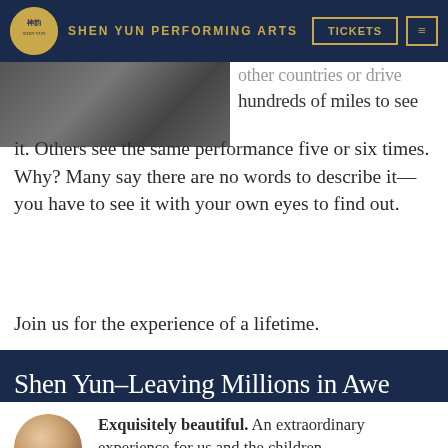SHEN YUN PERFORMING ARTS
[Figure (photo): Partial image of performers or backstage scene, cropped at left side]
other countries or drive hundreds of miles to see it. Others see the same performance five or six times. Why? Many say there are no words to describe it—you have to see it with your own eyes to find out.
Join us for the experience of a lifetime.
Shen Yun–Leaving Millions in Awe
[Figure (photo): Circular portrait photo of a blonde woman, a testimonial giver]
Exquisitely beautiful. An extraordinary experience for us and the children